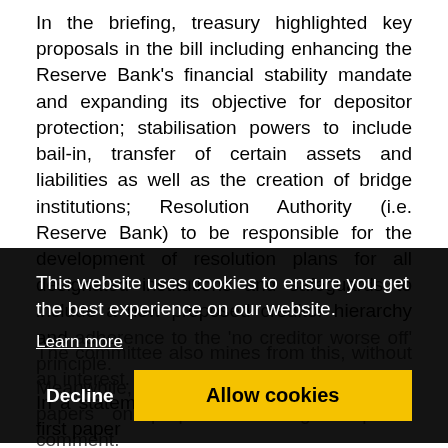In the briefing, treasury highlighted key proposals in the bill including enhancing the Reserve Bank's financial stability mandate and expanding its objective for depositor protection; stabilisation powers to include bail-in, transfer of certain assets and liabilities as well as the creation of bridge institutions; Resolution Authority (i.e. Reserve Bank) to be responsible for the development of resolution plans for all designated institutions and safeguards to include a new proposed creditor hierarchy and adherence to the 'no creditor worse off' principle.
This website uses cookies to ensure you get the best experience on our website.
Learn more
Decline   Allow cookies
In a statement, treasury points out that the first paper